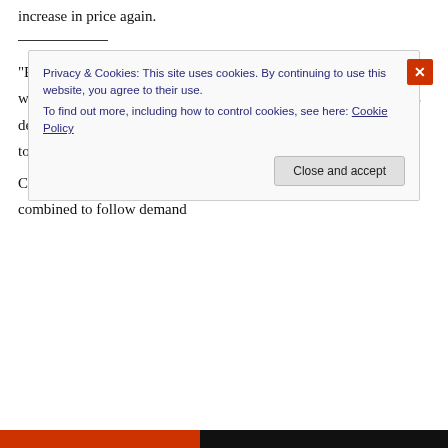increase in price again.
“Environmentalist, how will these deragulated markets cause the wind to blow constantly and reliably? How do deregulated markets deal with energy sources that are non-dipatchable and not there 80 to 90% of the time?”
Cyril, you are ignoring reality. wind soar, biogas and water can be combined to follow demand
Privacy & Cookies: This site uses cookies. By continuing to use this website, you agree to their use.
To find out more, including how to control cookies, see here: Cookie Policy
Close and accept